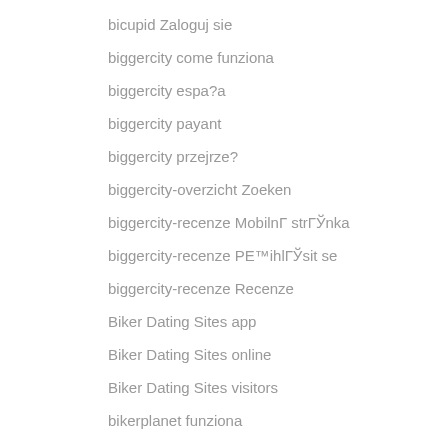bicupid Zaloguj sie
biggercity come funziona
biggercity espa?a
biggercity payant
biggercity przejrze?
biggercity-overzicht Zoeken
biggercity-recenze MobilnГ strГЎnka
biggercity-recenze PE™ihlГЎsit se
biggercity-recenze Recenze
Biker Dating Sites app
Biker Dating Sites online
Biker Dating Sites visitors
bikerplanet funziona
bikerplanet gratis
bikerplanet review